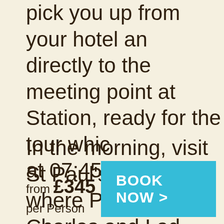pick you up from your hotel and directly to the meeting point at Station, ready for the tour which at 07:45.
In the morning, visit St Paul's C where Prince Charles and Lady Spencer were married, watch r
from £345 per Person
BOOK NOW >